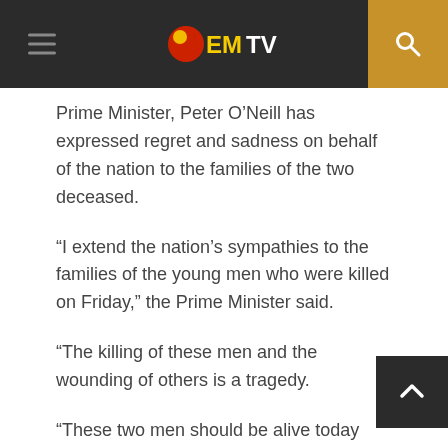EMTV
Prime Minister, Peter O’Neill has expressed regret and sadness on behalf of the nation to the families of the two deceased.
“I extend the nation’s sympathies to the families of the young men who were killed on Friday,” the Prime Minister said.
“The killing of these men and the wounding of others is a tragedy.
“These two men should be alive today and with their families, and the Government has a responsibility to ensure the investigation is thorough and independent, Mr O’Neill said.